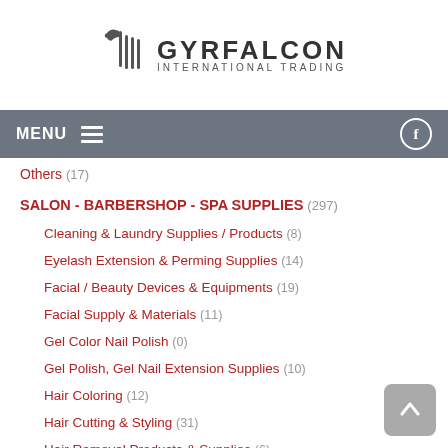[Figure (logo): Gyrfalcon International Trading logo with bird silhouette and brand name]
MENU (navigation bar with Facebook icon)
Others (17)
SALON - BARBERSHOP - SPA SUPPLIES (297)
Cleaning & Laundry Supplies / Products (8)
Eyelash Extension & Perming Supplies (14)
Facial / Beauty Devices & Equipments (19)
Facial Supply & Materials (11)
Gel Color Nail Polish (0)
Gel Polish, Gel Nail Extension Supplies (10)
Hair Coloring (12)
Hair Cutting & Styling (31)
Hair Removal Products & Supplies (6)